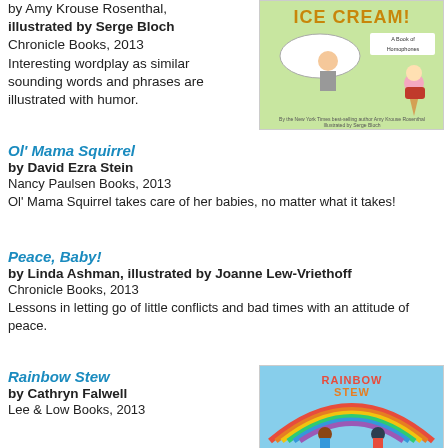by Amy Krouse Rosenthal, illustrated by Serge Bloch
Chronicle Books, 2013
Interesting wordplay as similar sounding words and phrases are illustrated with humor.
[Figure (illustration): Book cover for an ice cream themed book showing a cartoon boy and a hand holding an ice cream cone, with text 'ICE CREAM! A Book of Homophones']
Ol' Mama Squirrel
by David Ezra Stein
Nancy Paulsen Books, 2013
Ol' Mama Squirrel takes care of her babies, no matter what it takes!
Peace, Baby!
by Linda Ashman, illustrated by Joanne Lew-Vriethoff
Chronicle Books, 2013
Lessons in letting go of little conflicts and bad times with an attitude of peace.
Rainbow Stew
by Cathryn Falwell
Lee & Low Books, 2013
[Figure (illustration): Book cover for Rainbow Stew showing children under a rainbow arc with the title Rainbow Stew]